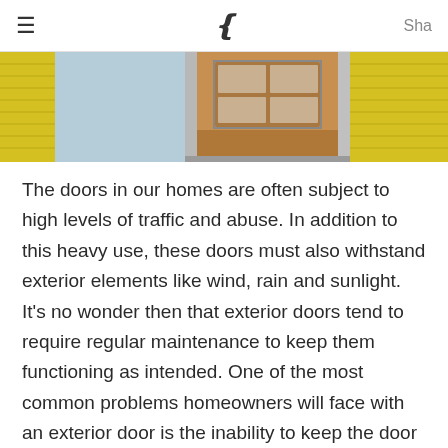≡  (  Sha
[Figure (photo): Exterior of a house with bright yellow painted wooden siding and an open wooden door revealing a window with glass panes. Light blue sky visible on the left side.]
The doors in our homes are often subject to high levels of traffic and abuse. In addition to this heavy use, these doors must also withstand exterior elements like wind, rain and sunlight. It's no wonder then that exterior doors tend to require regular maintenance to keep them functioning as intended. One of the most common problems homeowners will face with an exterior door is the inability to keep the door tightly shut. This occurs when hardware gets loose or worn out over time. Fortunately, this problem is relatively easy to fix for most DIY homeowners. Within a few